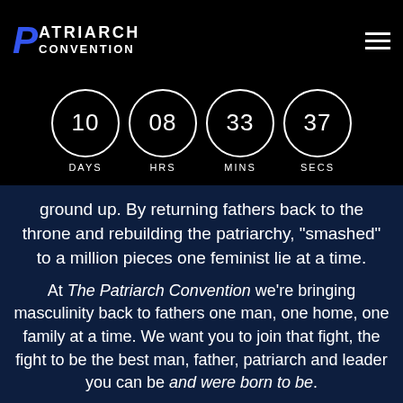[Figure (logo): Patriarch Convention logo with blue stylized P and white text on black background]
[Figure (infographic): Countdown timer showing 10 DAYS, 08 HRS, 33 MINS, 37 SECS in white circles on black background]
ground up. By returning fathers back to the throne and rebuilding the patriarchy, "smashed" to a million pieces one feminist lie at a time.
At The Patriarch Convention we're bringing masculinity back to fathers one man, one home, one family at a time. We want you to join that fight, the fight to be the best man, father, patriarch and leader you can be and were born to be.